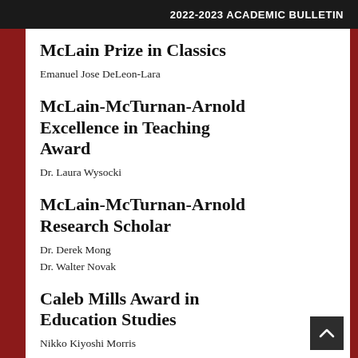2022-2023 ACADEMIC BULLETIN
McLain Prize in Classics
Emanuel Jose DeLeon-Lara
McLain-McTurnan-Arnold Excellence in Teaching Award
Dr. Laura Wysocki
McLain-McTurnan-Arnold Research Scholar
Dr. Derek Mong
Dr. Walter Novak
Caleb Mills Award in Education Studies
Nikko Kiyoshi Morris